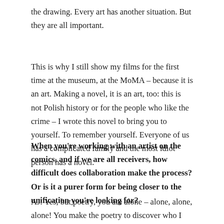the drawing. Every art has another situation. But they are all important.
This is why I still show my films for the first time at the museum, at the MoMA – because it is an art. Making a novel, it is an art, too: this is not Polish history or for the people who like the crime – I wrote this novel to bring you to yourself. To remember yourself. Everyone of us has a complicated family and the most idiot person has a novel.
When you're working with an artist on the comics, and if we are all receivers, how difficult does collaboration make the process? Or is it a purer form for being closer to the unification you're looking for?
AJ: Yes, but poetry, you are alone – alone, alone, alone! You make the poetry to discover who I am, no? And then, like a poet, I write a